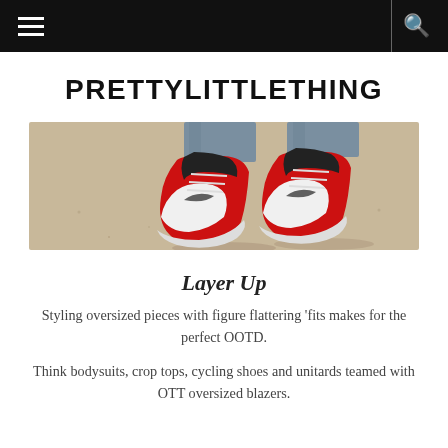PRETTYLITTLETHING (navigation bar with hamburger menu and search icon)
PRETTYLITTLETHING
[Figure (photo): Close-up photo of two feet wearing red, white, and black Nike Air Jordan sneakers with jeans, standing on sandy/concrete ground.]
Layer Up
Styling oversized pieces with figure flattering 'fits makes for the perfect OOTD.
Think bodysuits, crop tops, cycling shoes and unitards teamed with OTT oversized blazers.